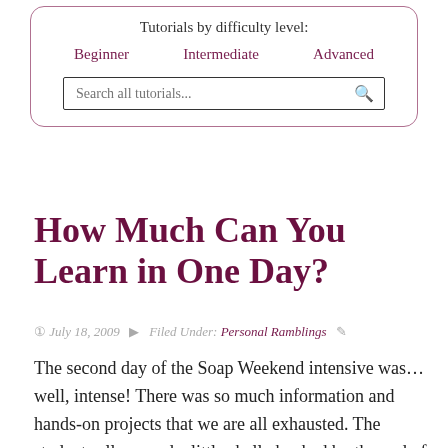Tutorials by difficulty level:
Beginner   Intermediate   Advanced
Search all tutorials...
How Much Can You Learn in One Day?
July 18, 2009   Filed Under: Personal Ramblings
The second day of the Soap Weekend intensive was... well, intense! There was so much information and hands-on projects that we are all exhausted. The students all seemed a little shell-shocked by the end of the jam-packed day.